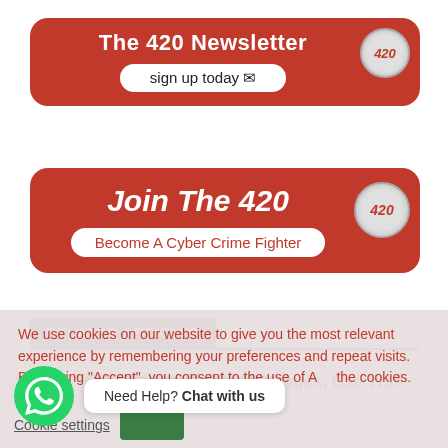[Figure (infographic): Red banner for 'The 420 Newsletter' with 'sign up today' button and 420 badge logo]
[Figure (infographic): Red banner 'Join The 420 - Become A Cyber Crime Fighter' with 420 badge logo]
RELATED ARTICLES
eader Information Portal   Getting Spam Messages, Use This
We use cookies on our website to give you the most relevant experience by remembering your preferences and repeat visits. By clicking "Accept", you consent to the use of ALL the cookies.
Need Help? Chat with us
Cookie settings   Accept